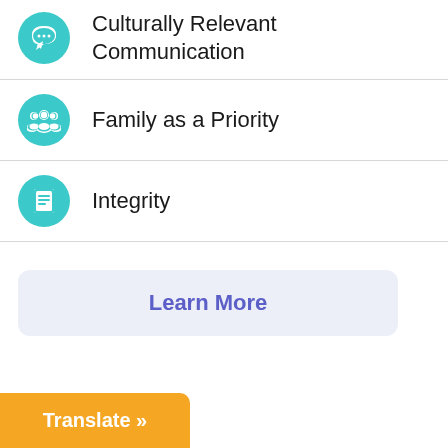Culturally Relevant Communication
Family as a Priority
Integrity
Learn More
Translate »